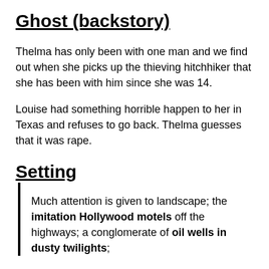Ghost (backstory)
Thelma has only been with one man and we find out when she picks up the thieving hitchhiker that she has been with him since she was 14.
Louise had something horrible happen to her in Texas and refuses to go back. Thelma guesses that it was rape.
Setting
Much attention is given to landscape; the imitation Hollywood motels off the highways; a conglomerate of oil wells in dusty twilights;